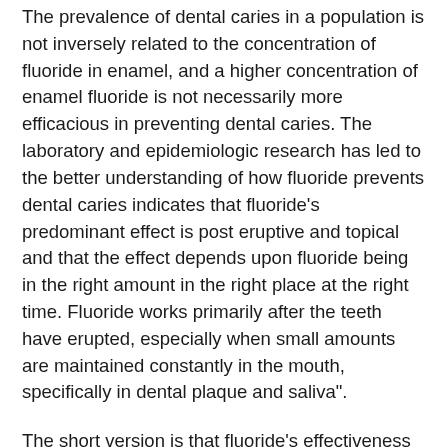The prevalence of dental caries in a population is not inversely related to the concentration of fluoride in enamel, and a higher concentration of enamel fluoride is not necessarily more efficacious in preventing dental caries. The laboratory and epidemiologic research has led to the better understanding of how fluoride prevents dental caries indicates that fluoride's predominant effect is post eruptive and topical and that the effect depends upon fluoride being in the right amount in the right place at the right time. Fluoride works primarily after the teeth have erupted, especially when small amounts are maintained constantly in the mouth, specifically in dental plaque and saliva".
The short version is that fluoride's effectiveness in on the surface of the tooth and after the tooth has come into the mouth. Nowhere does it say you have to drink it.
Previously, when the ADA recommended that everyone